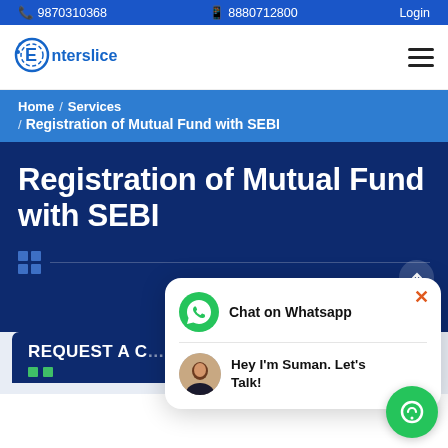9870310368  8880712800  Login
[Figure (logo): Enterslice logo with circular icon and blue text]
Home / Services / Registration of Mutual Fund with SEBI
Registration of Mutual Fund with SEBI
REQUEST A CALL
[Figure (screenshot): WhatsApp chat popup with agent Suman saying Hey I'm Suman. Let's Talk!]